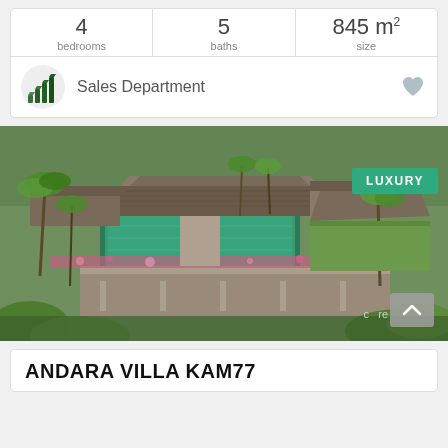4 bedrooms | 5 baths | 845 m² size
Sales Department
[Figure (photo): Aerial view of luxury villa with infinity pool, tropical gardens, and multi-pavilion architecture with grey tiled roofs and pink flowering plants. LUXURY badge visible top right.]
ANDARA VILLA KAM77